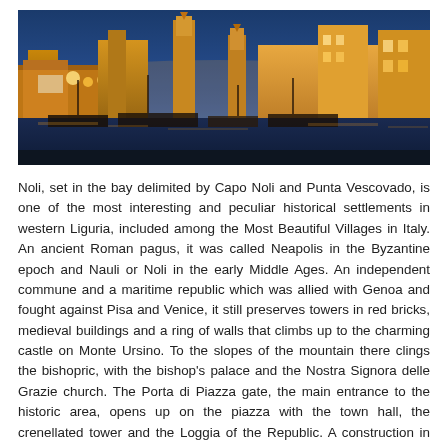[Figure (photo): Night-time panoramic photo of Noli harbor with illuminated buildings, boats moored in the water, and church towers visible against a blue evening sky.]
Noli, set in the bay delimited by Capo Noli and Punta Vescovado, is one of the most interesting and peculiar historical settlements in western Liguria, included among the Most Beautiful Villages in Italy. An ancient Roman pagus, it was called Neapolis in the Byzantine epoch and Nauli or Noli in the early Middle Ages. An independent commune and a maritime republic which was allied with Genoa and fought against Pisa and Venice, it still preserves towers in red bricks, medieval buildings and a ring of walls that climbs up to the charming castle on Monte Ursino. To the slopes of the mountain there clings the bishopric, with the bishop's palace and the Nostra Signora delle Grazie church. The Porta di Piazza gate, the main entrance to the historic area, opens up on the piazza with the town hall, the crenellated tower and the Loggia of the Republic. A construction in the late Baroque style is the Sant'Anna oratory, from whose parvis there is a beautiful view of the castle and the walls. The San Pietro Cathedral, of Romanesque origin, shows later Baroque alterations...